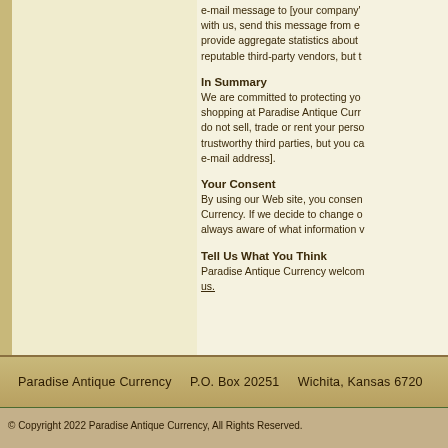e-mail message to [your company's e-mail address]. If you are registered with us, send this message from each e-mail address you've registered. This will provide aggregate statistics about our site which may be made available to reputable third-party vendors, but t…
In Summary
We are committed to protecting your privacy while you enjoy shopping at Paradise Antique Currency. In particular, we do not sell, trade or rent your personal information to trustworthy third parties, but you ca… e-mail address].
Your Consent
By using our Web site, you consent to… Paradise Antique Currency. If we decide to change o… always aware of what information w…
Tell Us What You Think
Paradise Antique Currency welcom… us.
Paradise Antique Currency   P.O. Box 20251   Wichita, Kansas 6720…
© Copyright 2022 Paradise Antique Currency, All Rights Reserved.